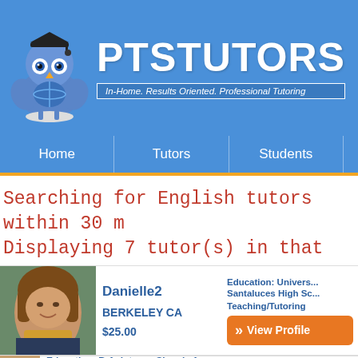[Figure (logo): PTSTUTORS website header with owl mascot logo and tagline 'In-Home. Results Oriented. Professional Tutoring']
Home | Tutors | Students
Searching for English tutors within 30 m
Displaying 7 tutor(s) in that area.
[Figure (photo): Photo of tutor Danielle2, a young woman smiling]
Danielle2
BERKELEY CA
$25.00
Education: Univers...
Santaluces High Sc...
Teaching/Tutoring
View Profile
Education: B.A. Int...
Shayde 1